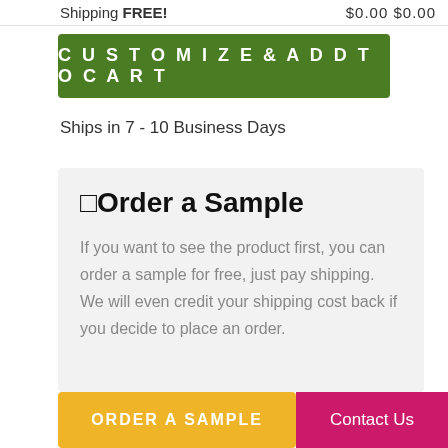Shipping  FREE!    $0.00  $0.00
CUSTOMIZE & ADD TO CART
Ships in 7 - 10 Business Days
🔲Order a Sample
If you want to see the product first, you can order a sample for free, just pay shipping. We will even credit your shipping cost back if you decide to place an order.
ORDER A SAMPLE
Contact Us